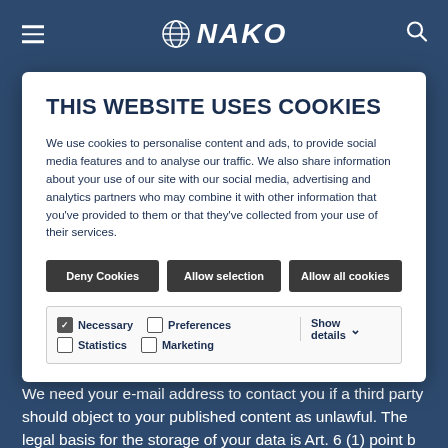NAKO
THIS WEBSITE USES COOKIES
We use cookies to personalise content and ads, to provide social media features and to analyse our traffic. We also share information about your use of our site with our social media, advertising and analytics partners who may combine it with other information that you've provided to them or that they've collected from your use of their services.
Deny Cookies | Allow selection | Allow all cookies
Necessary  Preferences  Statistics  Marketing  Show details
parties or posts illegal content by submitting a comment. We need your e-mail address to contact you if a third party should object to your published content as unlawful. The legal basis for the storage of your data is Art. 6 (1) point b and f GDPR. We reserve the right to